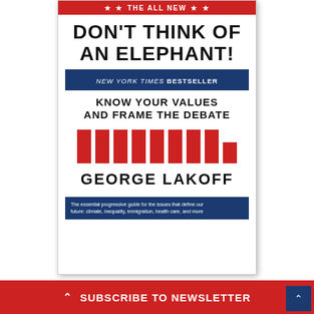[Figure (illustration): Book cover of 'Don't Think of an Elephant! Know Your Values and Frame the Debate' by George Lakoff. The All New edition. New York Times Bestseller. Red and white cover with bold black text, red decorative bars in the middle, and a blue banner at the bottom describing it as the essential progressive guide.]
Get the ultimate progressive guide to winning elect... .
^ SUBSCRIBE TO NEWSLETTER